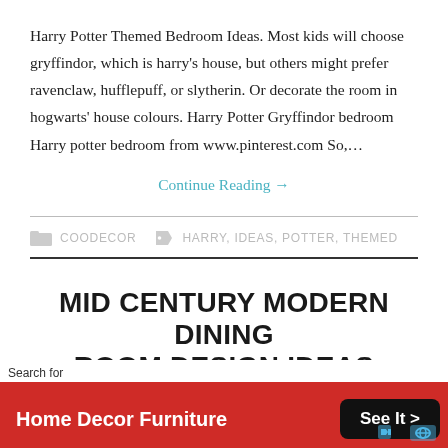Harry Potter Themed Bedroom Ideas. Most kids will choose gryffindor, which is harry’s house, but others might prefer ravenclaw, hufflepuff, or slytherin. Or decorate the room in hogwarts’ house colours. Harry Potter Gryffindor bedroom Harry potter bedroom from www.pinterest.com So,…
Continue Reading →
COODECOR   HARRY, IDEAS, POTTER, THEMED
MID CENTURY MODERN DINING ROOM DESIGN IDEAS
JUNE 1, 2022 / COODECOR / LEAVE A COMMENT
Search for Home Decor Furniture  See It >